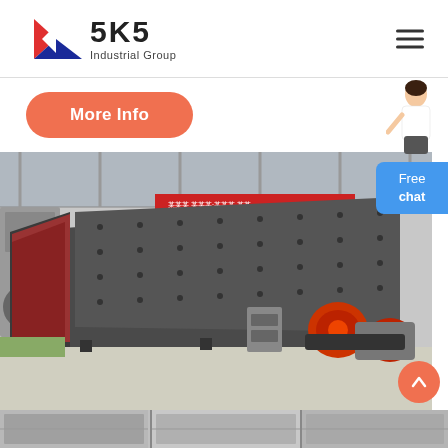SKS Industrial Group
More Info
[Figure (photo): Industrial vibrating screen machine in a factory setting, large grey metal machine with red motor assembly and control box]
[Figure (photo): Partial bottom strip showing close-up of vibrating screen components]